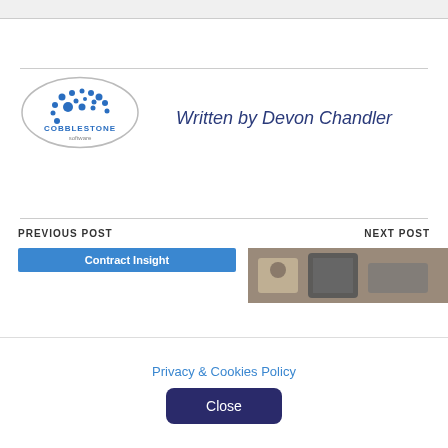[Figure (logo): CobbleStone Software oval logo with blue dot pattern and company name]
Written by Devon Chandler
PREVIOUS POST
NEXT POST
[Figure (screenshot): Contract Insight blue button thumbnail for previous post]
[Figure (photo): Photo of keys and notebook for next post thumbnail]
Privacy & Cookies Policy
Close